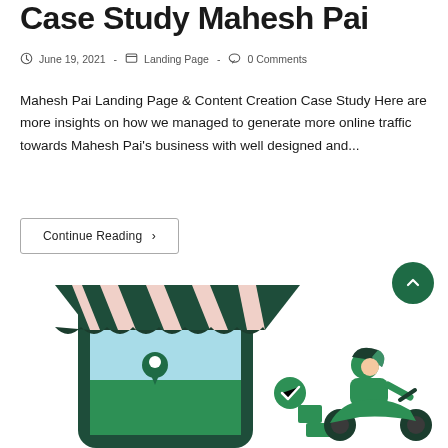Case Study Mahesh Pai
June 19, 2021 - Landing Page - 0 Comments
Mahesh Pai Landing Page & Content Creation Case Study Here are more insights on how we managed to generate more online traffic towards Mahesh Pai's business with well designed and...
Continue Reading ›
[Figure (illustration): Illustration of a mobile phone with a store awning (green and white stripes), a delivery person on a scooter wearing a green helmet, a location pin, a green checkmark badge, and green packages — representing an online delivery or e-commerce service.]